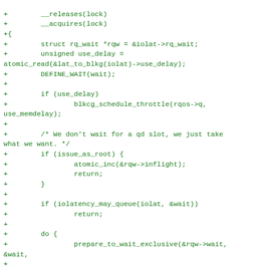[Figure (screenshot): Source code diff showing C code with green '+' prefixed lines. Code includes lock acquisition/release annotations, struct declarations, atomic operations, throttle calls, wait queue logic with do-while loop, and iolatency queue checks.]